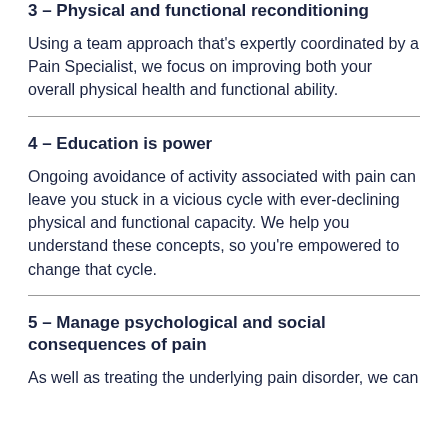3 – Physical and functional reconditioning
Using a team approach that's expertly coordinated by a Pain Specialist, we focus on improving both your overall physical health and functional ability.
4 – Education is power
Ongoing avoidance of activity associated with pain can leave you stuck in a vicious cycle with ever-declining physical and functional capacity. We help you understand these concepts, so you're empowered to change that cycle.
5 – Manage psychological and social consequences of pain
As well as treating the underlying pain disorder, we can